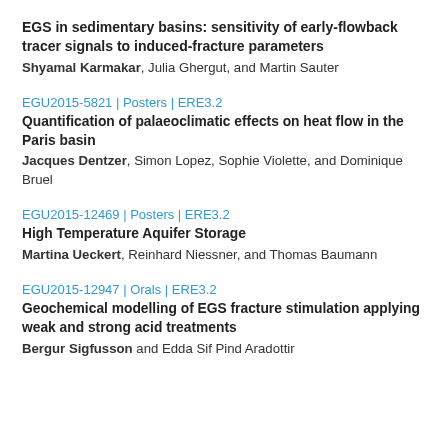EGS in sedimentary basins: sensitivity of early-flowback tracer signals to induced-fracture parameters
Shyamal Karmakar, Julia Ghergut, and Martin Sauter
EGU2015-5821 | Posters | ERE3.2
Quantification of palaeoclimatic effects on heat flow in the Paris basin
Jacques Dentzer, Simon Lopez, Sophie Violette, and Dominique Bruel
EGU2015-12469 | Posters | ERE3.2
High Temperature Aquifer Storage
Martina Ueckert, Reinhard Niessner, and Thomas Baumann
EGU2015-12947 | Orals | ERE3.2
Geochemical modelling of EGS fracture stimulation applying weak and strong acid treatments
Bergur Sigfusson and Edda Sif Pind Aradottir